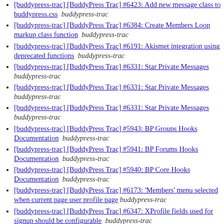[buddypress-trac] [BuddyPress Trac] #6423: Add new message class to buddypress.css  buddypress-trac
[buddypress-trac] [BuddyPress Trac] #6384: Create Members Loop markup class function  buddypress-trac
[buddypress-trac] [BuddyPress Trac] #6191: Akismet integration using deprecated functions  buddypress-trac
[buddypress-trac] [BuddyPress Trac] #6331: Star Private Messages  buddypress-trac
[buddypress-trac] [BuddyPress Trac] #6331: Star Private Messages  buddypress-trac
[buddypress-trac] [BuddyPress Trac] #6331: Star Private Messages  buddypress-trac
[buddypress-trac] [BuddyPress Trac] #5943: BP Groups Hooks Documentation  buddypress-trac
[buddypress-trac] [BuddyPress Trac] #5941: BP Forums Hooks Documentation  buddypress-trac
[buddypress-trac] [BuddyPress Trac] #5940: BP Core Hooks Documentation  buddypress-trac
[buddypress-trac] [BuddyPress Trac] #6173: 'Members' menu selected when current page user profile page  buddypress-trac
[buddypress-trac] [BuddyPress Trac] #6347: XProfile fields used for signup should be configurable  buddypress-trac
[buddypress-trac] [BuddyPress Trac] #5926: getting an activity permalink instead of a shortlink  buddypress-trac
[buddypress-trac] [BuddyPress Trac] #6373: B...